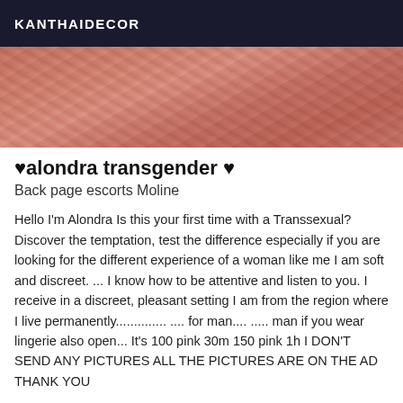KANTHAIDECOR
[Figure (photo): Close-up blurred photo with warm pinkish-red tones showing textured surfaces]
♥alondra transgender ♥
Back page escorts Moline
Hello I'm Alondra Is this your first time with a Transsexual? Discover the temptation, test the difference especially if you are looking for the different experience of a woman like me I am soft and discreet. ... I know how to be attentive and listen to you. I receive in a discreet, pleasant setting I am from the region where I live permanently.............. .... for man.... ..... man if you wear lingerie also open... It's 100 pink 30m 150 pink 1h I DON'T SEND ANY PICTURES ALL THE PICTURES ARE ON THE AD THANK YOU